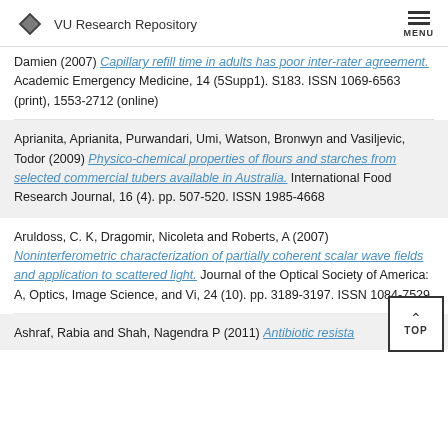VU Research Repository
Damien (2007) Capillary refill time in adults has poor inter-rater agreement. Academic Emergency Medicine, 14 (5Supp1). S183. ISSN 1069-6563 (print), 1553-2712 (online)
Aprianita, Aprianita, Purwandari, Umi, Watson, Bronwyn and Vasiljevic, Todor (2009) Physico-chemical properties of flours and starches from selected commercial tubers available in Australia. International Food Research Journal, 16 (4). pp. 507-520. ISSN 1985-4668
Aruldoss, C. K, Dragomir, Nicoleta and Roberts, A (2007) Noninterferometric characterization of partially coherent scalar wave fields and application to scattered light. Journal of the Optical Society of America: A, Optics, Image Science, and Vi, 24 (10). pp. 3189-3197. ISSN 1084-7529
Ashraf, Rabia and Shah, Nagendra P (2011) Antibiotic resista...